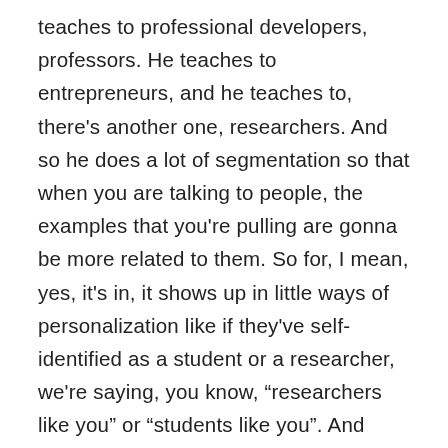teaches to professional developers, professors. He teaches to entrepreneurs, and he teaches to, there's another one, researchers. And so he does a lot of segmentation so that when you are talking to people, the examples that you're pulling are gonna be more related to them. So for, I mean, yes, it's in, it shows up in little ways of personalization like if they've self-identified as a student or a researcher, we're saying, you know, “researchers like you” or “students like you”. And then the, the examples that we're bringing in, we're showing them success stories from students like them or researchers like them based on that segmentation. So I